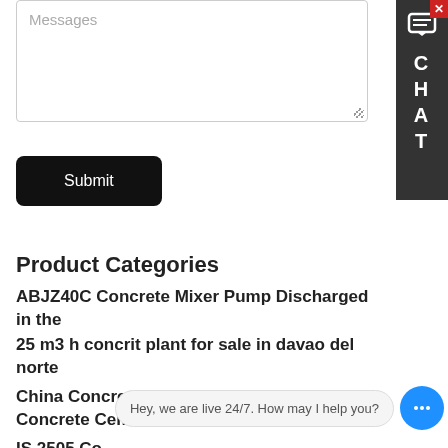Messages
Submit
Product Categories
ABJZ40C Concrete Mixer Pump Discharged in the
25 m3 h concrit plant for sale in davao del norte
China Concrete Cement Mixer Machine Concrete Cement Mixer
IS 2505 Co... General
Hey, we are live 24/7. How may I help you?